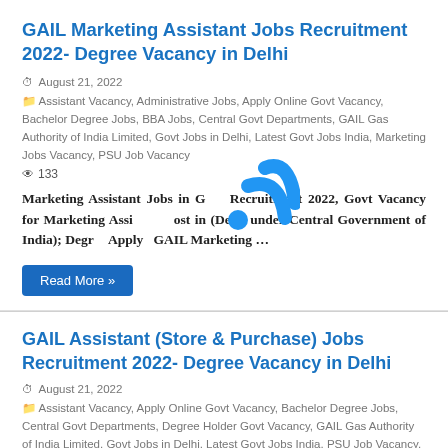GAIL Marketing Assistant Jobs Recruitment 2022- Degree Vacancy in Delhi
August 21, 2022
Assistant Vacancy, Administrative Jobs, Apply Online Govt Vacancy, Bachelor Degree Jobs, BBA Jobs, Central Govt Departments, GAIL Gas Authority of India Limited, Govt Jobs in Delhi, Latest Govt Jobs India, Marketing Jobs Vacancy, PSU Job Vacancy
133
Marketing Assistant Jobs in GAIL Recruitment 2022, Govt Vacancy for Marketing Assistant Post in (Delhi under Central Government of India); Degree Apply   GAIL Marketing …
Read More »
GAIL Assistant (Store & Purchase) Jobs Recruitment 2022- Degree Vacancy in Delhi
August 21, 2022
Assistant Vacancy, Apply Online Govt Vacancy, Bachelor Degree Jobs, Central Govt Departments, Degree Holder Govt Vacancy, GAIL Gas Authority of India Limited, Govt Jobs in Delhi, Latest Govt Jobs India, PSU Job Vacancy, Store Keeper Vacancy